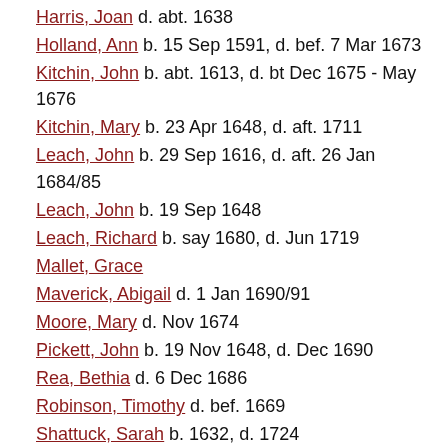Harris, Joan  d. abt. 1638
Holland, Ann  b. 15 Sep 1591, d. bef. 7 Mar 1673
Kitchin, John  b. abt. 1613, d. bt Dec 1675 - May 1676
Kitchin, Mary  b. 23 Apr 1648, d. aft. 1711
Leach, John  b. 29 Sep 1616, d. aft. 26 Jan 1684/85
Leach, John  b. 19 Sep 1648
Leach, Richard  b. say 1680, d. Jun 1719
Mallet, Grace
Maverick, Abigail  d. 1 Jan 1690/91
Moore, Mary  d. Nov 1674
Pickett, John  b. 19 Nov 1648, d. Dec 1690
Rea, Bethia  d. 6 Dec 1686
Robinson, Timothy  d. bef. 1669
Shattuck, Sarah  b. 1632, d. 1724
Sibley, Damaris  b. abt. 1670, d. 2 Apr